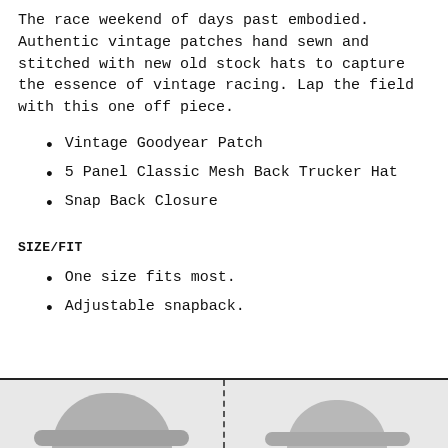The race weekend of days past embodied. Authentic vintage patches hand sewn and stitched with new old stock hats to capture the essence of vintage racing. Lap the field with this one off piece.
Vintage Goodyear Patch
5 Panel Classic Mesh Back Trucker Hat
Snap Back Closure
SIZE/FIT
One size fits most.
Adjustable snapback.
[Figure (photo): Two trucker hats shown side by side, separated by a dashed vertical line, displayed in a framed box at the bottom of the page.]